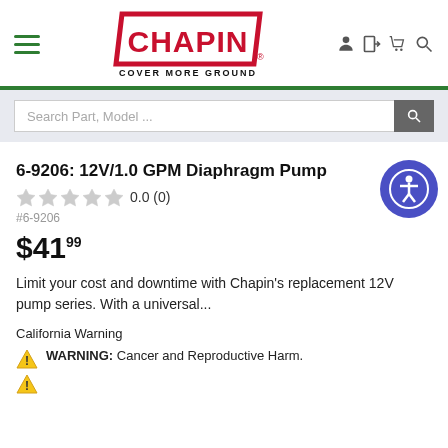[Figure (logo): Chapin brand logo with red parallelogram border and 'COVER MORE GROUND' tagline]
6-9206: 12V/1.0 GPM Diaphragm Pump
0.0 (0)
#6-9206
$41.99
Limit your cost and downtime with Chapin's replacement 12V pump series. With a universal...
California Warning
WARNING: Cancer and Reproductive Harm.